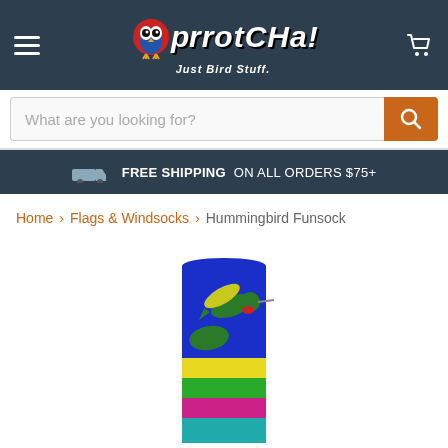[Figure (logo): Parrotcha! Just Bird Stuff. logo with owl mascot, dark teal header bar]
[Figure (screenshot): Search bar with placeholder 'What are you looking for?' and orange search button]
FREE SHIPPING ON ALL ORDERS $75+
Home > Flags & Windsocks > Hummingbird Funsock
[Figure (photo): Hummingbird Funsock windsock product image: blue top panel with green/yellow hummingbird, followed by colorful striped panels in yellow, green, magenta, and teal]